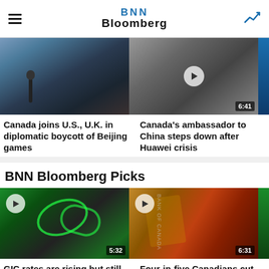BNN Bloomberg
[Figure (photo): Photo of Justin Trudeau speaking at a microphone]
Canada joins U.S., U.K. in diplomatic boycott of Beijing games
[Figure (photo): Video thumbnail of Canada's ambassador to China, duration 6:41]
Canada's ambassador to China steps down after Huawei crisis
BNN Bloomberg Picks
[Figure (photo): Video thumbnail showing green neon signs in a building, duration 5:32]
GIC rates are rising but still lag inflation. When are they worth it?
[Figure (photo): Video thumbnail showing Canadian currency close-up, duration 6:31]
Four-in-five Canadians cut spending amid higher costs: Poll